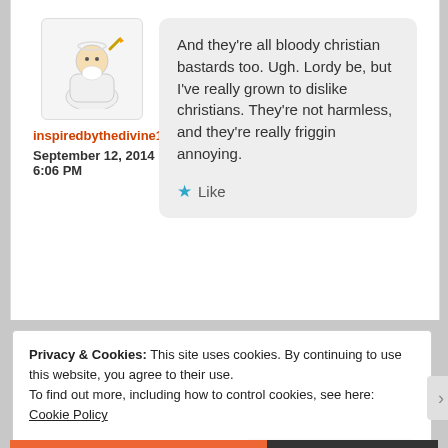[Figure (illustration): Avatar illustration of a cartoon figure in white robes holding a staff]
inspiredbythedivine1
September 12, 2014
6:06 PM
And they’re all bloody christian bastards too. Ugh. Lordy be, but I’ve really grown to dislike christians. They’re not harmless, and they’re really friggin annoying.
★ Like
Privacy & Cookies: This site uses cookies. By continuing to use this website, you agree to their use.
To find out more, including how to control cookies, see here: Cookie Policy
Close and accept